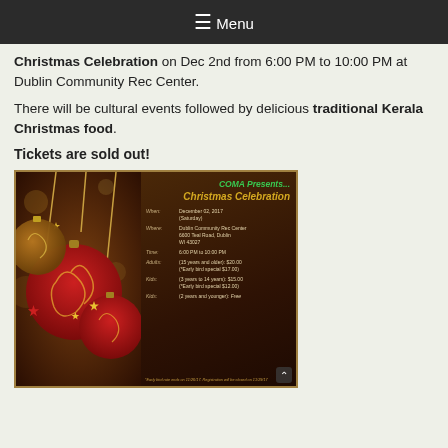≡ Menu
Christmas Celebration on Dec 2nd from 6:00 PM to 10:00 PM at Dublin Community Rec Center.
There will be cultural events followed by delicious traditional Kerala Christmas food.
Tickets are sold out!
[Figure (illustration): COMA Christmas Celebration event flyer with ornament decorations on the left and event details on the right, showing date December 02, 2017 (Saturday), location Dublin Community Rec Center 6600 Teal Road Dublin WI 43027, Time 6:00 PM to 10:00 PM, ticket prices for adults, kids 3-14, and kids 12 and younger free.]